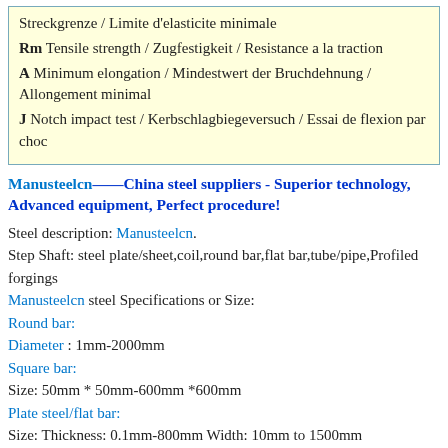Streckgrenze / Limite d'elasticite minimale
Rm Tensile strength / Zugfestigkeit / Resistance a la traction
A Minimum elongation / Mindestwert der Bruchdehnung / Allongement minimal
J Notch impact test / Kerbschlagbiegeversuch / Essai de flexion par choc
Manusteelcn——China steel suppliers - Superior technology, Advanced equipment, Perfect procedure!
Steel description: Manusteelcn.
Step Shaft: steel plate/sheet,coil,round bar,flat bar,tube/pipe,Profiled forgings
Manusteelcn steel Specifications or Size:
Round bar:
Diameter : 1mm-2000mm
Square bar:
Size: 50mm * 50mm-600mm *600mm
Plate steel/flat bar:
Size: Thickness: 0.1mm-800mm Width: 10mm to 1500mm
Tube/pipe:
Size: OD: 6-219mm WT: 1-35 mm.